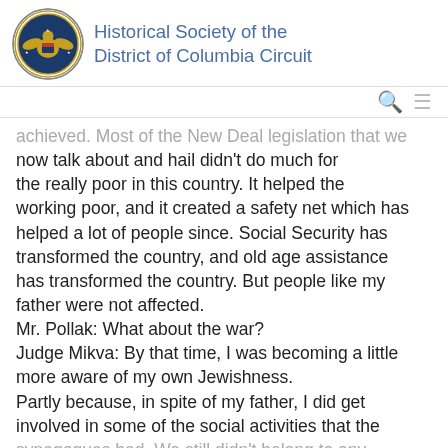Historical Society of the District of Columbia Circuit
achieved. Most of the New Deal legislation that we now talk about and hail didn't do much for the really poor in this country. It helped the working poor, and it created a safety net which has helped a lot of people since. Social Security has transformed the country, and old age assistance has transformed the country. But people like my father were not affected.
Mr. Pollak: What about the war?
Judge Mikva: By that time, I was becoming a little more aware of my own Jewishness.
Partly because, in spite of my father, I did get involved in some of the social activities that the synagogues had. We still didn't belong to any